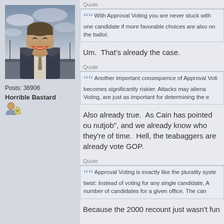[Figure (photo): Profile photo of a laughing man in a suit and tie against a cloudy sky background]
Posts: 36906
Horrible Bastard
[Figure (illustration): User icon/avatar badge]
Quote
With Approval Voting you are never stuck with one candidate if more favorable choices are also on the ballot.
Um.  That's already the case.
Quote
Another important consequence of Approval Voting becomes significantly riskier. Attacks may alienate, Voting, are just as important for determining the e
Also already true.  As Cain has pointed ou nutjob", and we already know who they're of time.  Hell, the teabaggers are already vote GOP.
Quote
Approval Voting is exactly like the plurality syste twist: Instead of voting for any single candidate, A number of candidates for a given office. The can
Because the 2000 recount just wasn't fun